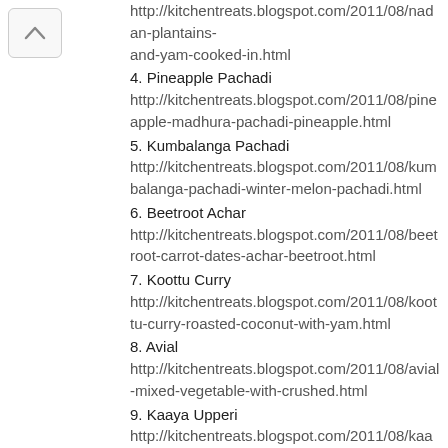http://kitchentreats.blogspot.com/2011/08/nadan-plantains-and-yam-cooked-in.html
4. Pineapple Pachadi
http://kitchentreats.blogspot.com/2011/08/pineapple-madhura-pachadi-pineapple.html
5. Kumbalanga Pachadi
http://kitchentreats.blogspot.com/2011/08/kumbalanga-pachadi-winter-melon-pachadi.html
6. Beetroot Achar
http://kitchentreats.blogspot.com/2011/08/beetroot-carrot-dates-achar-beetroot.html
7. Koottu Curry
http://kitchentreats.blogspot.com/2011/08/koottu-curry-roasted-coconut-with-yam.html
8. Avial
http://kitchentreats.blogspot.com/2011/08/avial-mixed-vegetable-with-crushed.html
9. Kaaya Upperi
http://kitchentreats.blogspot.com/2011/08/kaaya-upperi-raw-banana-chips-onam.html
10. Mathanga Vanpayar Erissery
http://kitchentreats.blogspot.com/2011/08/mathanga-vanpayar-erissery-yellow.html